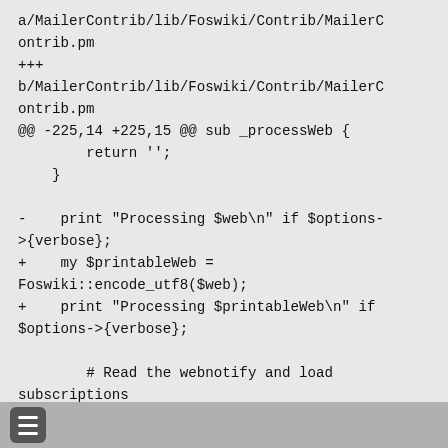a/MailerContrib/lib/Foswiki/Contrib/MailerContrib.pm
+++
b/MailerContrib/lib/Foswiki/Contrib/MailerContrib.pm
@@ -225,14 +225,15 @@ sub _processWeb {
        return '';
    }

-    print "Processing $web\n" if $options->{verbose};
+    my $printableWeb = Foswiki::encode_utf8($web);
+    print "Processing $printableWeb\n" if $options->{verbose};

        # Read the webnotify and load subscriptions
        my $wn =
[Figure (other): Menu/hamburger icon button in footer bar]